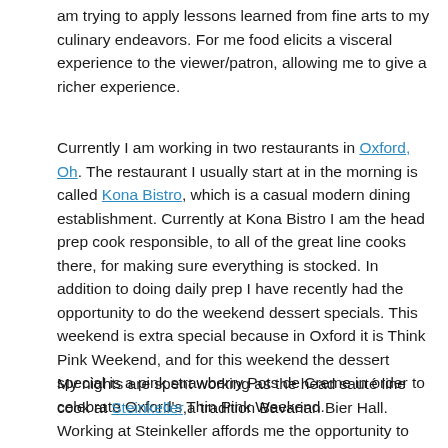am trying to apply lessons learned from fine arts to my culinary endeavors. For me food elicits a visceral experience to the viewer/patron, allowing me to give a richer experience.
Currently I am working in two restaurants in Oxford, Oh. The restaurant I usually start at in the morning is called Kona Bistro, which is a casual modern dining establishment. Currently at Kona Bistro I am the head prep cook responsible, to all of the great line cooks there, for making sure everything is stocked. In addition to doing daily prep I have recently had the opportunity to do the weekend dessert specials. This weekend is extra special because in Oxford it is Think Pink Weekend, and for this weekend the dessert special is a pink strawberry Pots de Creme in order to celebrate Oxford's Thin Pink Weekend.
My nights are spent working as the head sauté line cook at Steinkeller, a tradition Bavarian Bier Hall. Working at Steinkeller affords me the opportunity to use my artistic